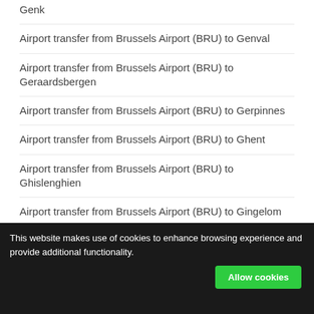Genk
Airport transfer from Brussels Airport (BRU) to Genval
Airport transfer from Brussels Airport (BRU) to Geraardsbergen
Airport transfer from Brussels Airport (BRU) to Gerpinnes
Airport transfer from Brussels Airport (BRU) to Ghent
Airport transfer from Brussels Airport (BRU) to Ghislenghien
Airport transfer from Brussels Airport (BRU) to Gingelom
This website makes use of cookies to enhance browsing experience and provide additional functionality.
Airport transfer from Brussels Airport (BRU) to [partially visible]